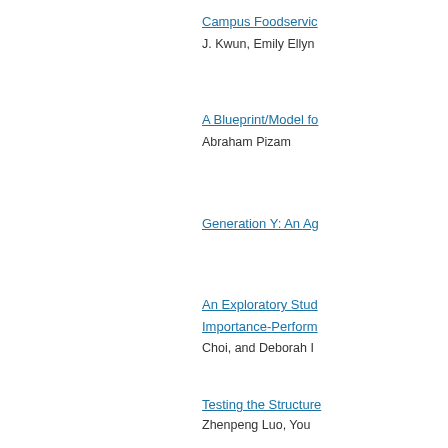Campus Foodservic
J. Kwun, Emily Ellyn
A Blueprint/Model fo
Abraham Pizam
Generation Y: An Ag
An Exploratory Stud
Importance-Perform
Choi, and Deborah I
Testing the Structure
Zhenpeng Luo, You
rofessional Associa
Duncan Dickson Ph
We use cookies to help provide and enhance our service and tailor content. By closing this message, you agree to the use of cookies.
Close
Link
Control Room and th
File
Freudian Angel, Ba
"I Want to Fall" and